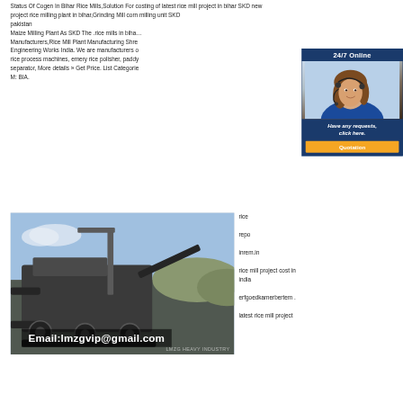Status Of Cogen In Bihar Rice Mills,Solution For costing of latest rice mill project in bihar SKD new project rice milling plant in bihar,Grinding Mill corn milling unit SKD pakistan Maize Milling Plant As SKD The .rice mills in biha... Manufacturers,Rice Mill Plant Manufacturing Shre Engineering Works India. We are manufacturers of rice process machines, emery rice polisher, paddy separator, More details » Get Price. List Categories M: BIA.
[Figure (photo): 24/7 Online support sidebar with a woman wearing a headset, dark blue background, with 'Have any requests, click here.' text and an orange Quotation button.]
[Figure (photo): Industrial mining/milling machine photographed outdoors. Email:lmzgvip@gmail.com overlay text. Watermark: LMZG HEAVY INDUSTRY]
rice... repo... inrem.in rice mill project cost in india erfgoedkamerbertem . latest rice mill project cost in bihar YouTube Mar 27, 2017 Cost of the project varies in